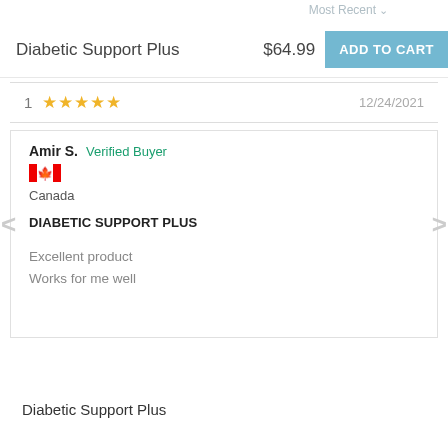Most Recent
Diabetic Support Plus  $64.99  ADD TO CART
1  ★★★★★  12/24/2021
Amir S. Verified Buyer
[Figure (illustration): Canadian flag emoji]
Canada
DIABETIC SUPPORT PLUS
Excellent product
Works for me well
Diabetic Support Plus